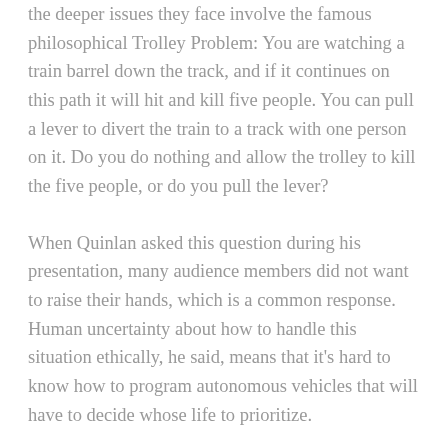the deeper issues they face involve the famous philosophical Trolley Problem: You are watching a train barrel down the track, and if it continues on this path it will hit and kill five people. You can pull a lever to divert the train to a track with one person on it. Do you do nothing and allow the trolley to kill the five people, or do you pull the lever?
When Quinlan asked this question during his presentation, many audience members did not want to raise their hands, which is a common response. Human uncertainty about how to handle this situation ethically, he said, means that it’s hard to know how to program autonomous vehicles that will have to decide whose life to prioritize.
“We don’t know what we want that car to do in that